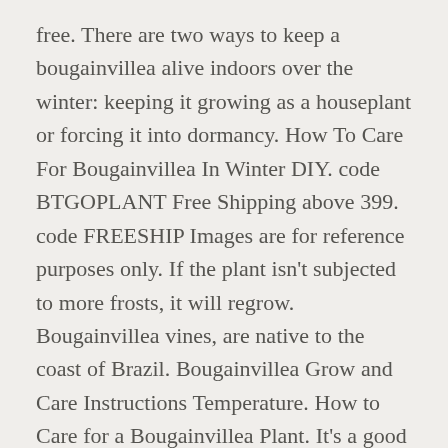free. There are two ways to keep a bougainvillea alive indoors over the winter: keeping it growing as a houseplant or forcing it into dormancy. How To Care For Bougainvillea In Winter DIY. code BTGOPLANT Free Shipping above 399. code FREESHIP Images are for reference purposes only. If the plant isn't subjected to more frosts, it will regrow. Bougainvillea vines, are native to the coast of Brazil. Bougainvillea Grow and Care Instructions Temperature. How to Care for a Bougainvillea Plant. It's a good idea to wear heavy gloves, since many cultivars have sharp thorns. Before frost spells hit, the plant must find cool shelter where it doesn't freeze. Once the last danger of a cold snap starts to ease in...